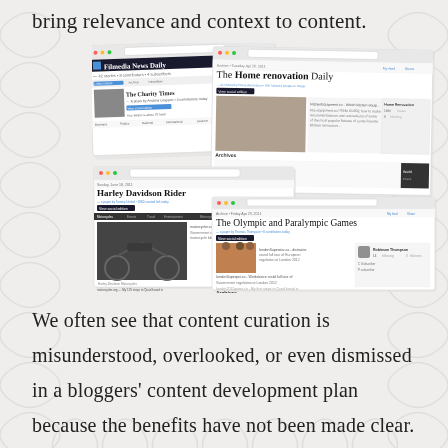bring relevance and context to content.
[Figure (screenshot): Collection of overlapping newspaper/blog website screenshots including: Filmedia News Daily, The Charity Times, The Home renovation Daily, Harley Davidson Rider, and The Olympic and Paralympic Games]
We often see that content curation is misunderstood, overlooked, or even dismissed in a bloggers' content development plan because the benefits have not been made clear.